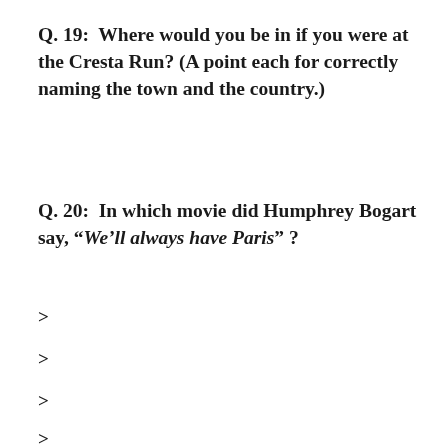Q. 19:  Where would you be in if you were at the Cresta Run? (A point each for correctly naming the town and the country.)
Q. 20:  In which movie did Humphrey Bogart say, “We’ll always have Paris” ?
>
>
>
>